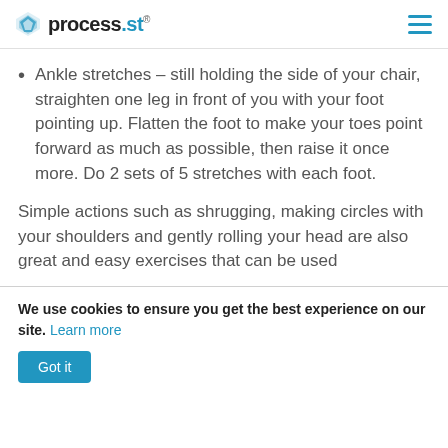process.st
Ankle stretches – still holding the side of your chair, straighten one leg in front of you with your foot pointing up. Flatten the foot to make your toes point forward as much as possible, then raise it once more. Do 2 sets of 5 stretches with each foot.
Simple actions such as shrugging, making circles with your shoulders and gently rolling your head are also great and easy exercises that can be used
We use cookies to ensure you get the best experience on our site. Learn more